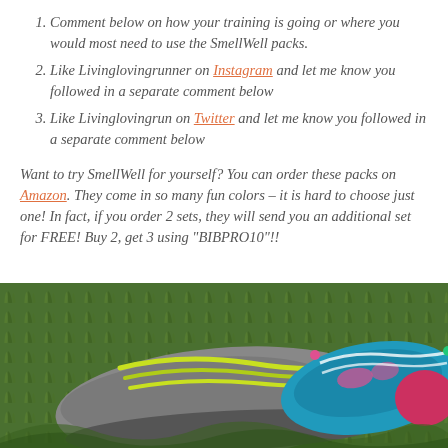Comment below on how your training is going or where you would most need to use the SmellWell packs.
Like Livinglovingrunner on Instagram and let me know you followed in a separate comment below
Like Livinglovingrun on Twitter and let me know you followed in a separate comment below
Want to try SmellWell for yourself? You can order these packs on Amazon. They come in so many fun colors – it is hard to choose just one! In fact, if you order 2 sets, they will send you an additional set for FREE! Buy 2, get 3 using "BIBPRO10"!!
[Figure (photo): Photo of colorful running shoes on green grass, showing a gray/yellow shoe and a blue/pink patterned shoe side by side]